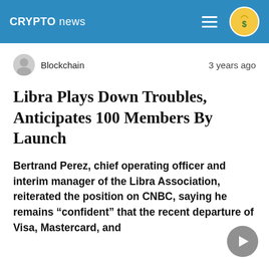CRYPTO news
Blockchain   3 years ago
Libra Plays Down Troubles, Anticipates 100 Members By Launch
Bertrand Perez, chief operating officer and interim manager of the Libra Association, reiterated the position on CNBC, saying he remains “confident” that the recent departure of Visa, Mastercard, and